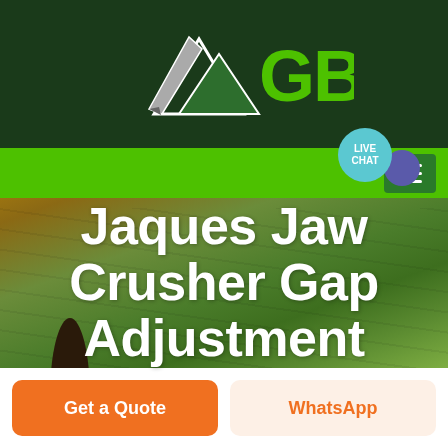[Figure (logo): GBM logo with mountain/arrow graphic on dark green background header]
[Figure (photo): Aerial landscape photo of agricultural fields with rolling hills and tree silhouettes, used as hero background image]
Jaques Jaw Crusher Gap Adjustment
Get a Quote
WhatsApp